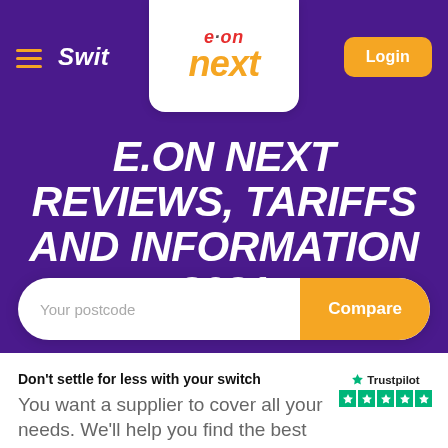E.ON Next — Switch — Login
[Figure (logo): E.ON Next logo — 'e.on' in red above 'next' in orange graffiti style lettering on white rounded box background]
E.ON NEXT REVIEWS, TARIFFS AND INFORMATION 2021
Your postcode
Compare
Don't settle for less with your switch
You want a supplier to cover all your needs. We'll help you find the best fit.
[Figure (logo): Trustpilot logo with 5 green stars rating badge]